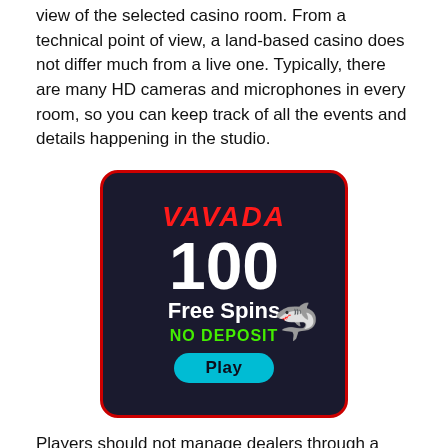view of the selected casino room. From a technical point of view, a land-based casino does not differ much from a live one. Typically, there are many HD cameras and microphones in every room, so you can keep track of all the events and details happening in the studio.
[Figure (illustration): Vavada casino advertisement banner: dark background with red border, red italic 'VAVADA' logo at top, large white '100' number, shark cartoon emoji, 'Free Spins' in white bold text, 'NO DEPOSIT' in green bold text, cyan 'Play' button at bottom.]
Players should not manage dealers through a microphone, but through the live casino system itself. That is why these games